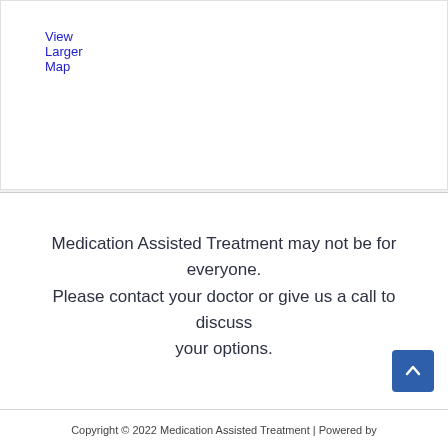View Larger Map
Medication Assisted Treatment may not be for everyone. Please contact your doctor or give us a call to discuss your options.
Copyright © 2022 Medication Assisted Treatment | Powered by